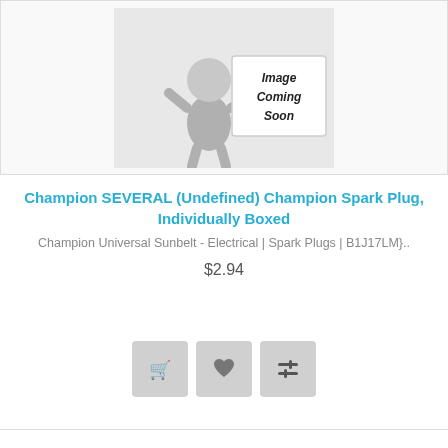[Figure (illustration): 3D cartoon figure of a grey humanoid character holding a sign that reads 'Image Coming Soon' in bold italic text on a white rectangular sign]
Champion SEVERAL (Undefined) Champion Spark Plug, Individually Boxed
Champion Universal Sunbelt - Electrical | Spark Plugs | B1J17LM}..
$2.94
[Figure (infographic): Three grey action buttons: shopping cart icon, heart/favorite icon, and compare/sliders icon]